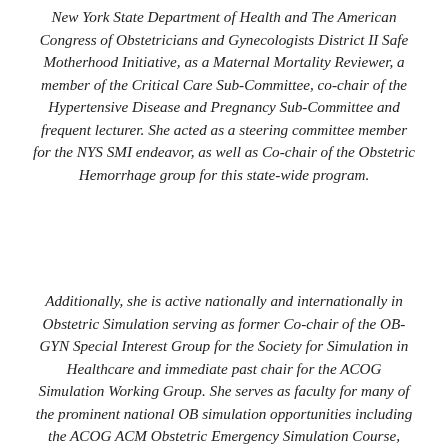New York State Department of Health and The American Congress of Obstetricians and Gynecologists District II Safe Motherhood Initiative, as a Maternal Mortality Reviewer, a member of the Critical Care Sub-Committee, co-chair of the Hypertensive Disease and Pregnancy Sub-Committee and frequent lecturer. She acted as a steering committee member for the NYS SMI endeavor, as well as Co-chair of the Obstetric Hemorrhage group for this state-wide program.
Additionally, she is active nationally and internationally in Obstetric Simulation serving as former Co-chair of the OB-GYN Special Interest Group for the Society for Simulation in Healthcare and immediate past chair for the ACOG Simulation Working Group. She serves as faculty for many of the prominent national OB simulation opportunities including the ACOG ACM Obstetric Emergency Simulation Course, SMFM Critical Care Obstetric Simulation